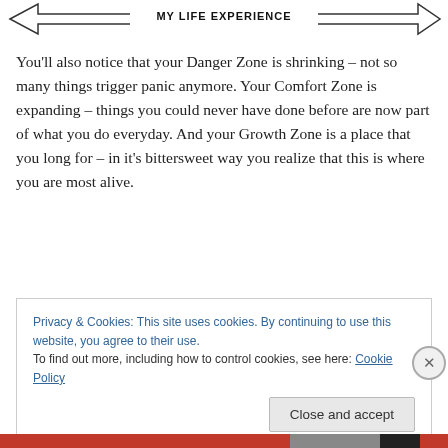[Figure (other): Arrow banner reading MY LIFE EXPERIENCE with decorative left-pointing and right-pointing arrow shapes on either side]
You'll also notice that your Danger Zone is shrinking – not so many things trigger panic anymore. Your Comfort Zone is expanding – things you could never have done before are now part of what you do everyday. And your Growth Zone is a place that you long for – in it's bittersweet way you realize that this is where you are most alive.
Privacy & Cookies: This site uses cookies. By continuing to use this website, you agree to their use.
To find out more, including how to control cookies, see here: Cookie Policy
Close and accept